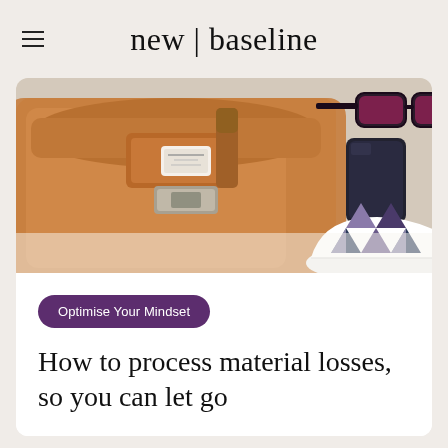new | baseline
[Figure (photo): A tan/caramel colored Herschel backpack with metal buckle clasp, a smartphone, red sunglasses, and a pair of geometric patterned sneakers laid flat on a white surface.]
Optimise Your Mindset
How to process material losses, so you can let go